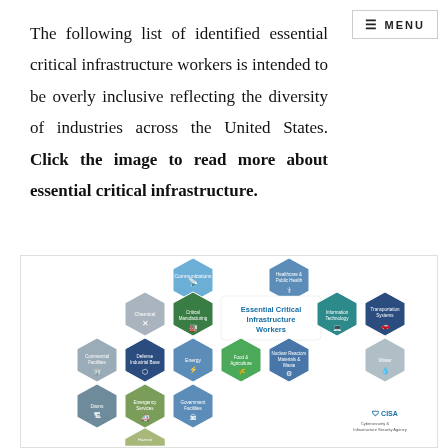The following list of identified essential critical infrastructure workers is intended to be overly inclusive reflecting the diversity of industries across the United States. Click the image to read more about essential critical infrastructure.
[Figure (infographic): Hexagonal honeycomb infographic titled 'Essential Critical Infrastructure Workers' with CISA branding. Sectors shown in colored hexagons include: Communications, Chemical, Critical Manufacturing, Commercial Facilities, Dams, Emergency Services, Hazmat, Energy, Government Facilities, Food & Agriculture, Nuclear Reactors Materials & Waste, Information Technology, Transportation Systems, Healthcare & Public Health, Water, Defense Industrial Base.]